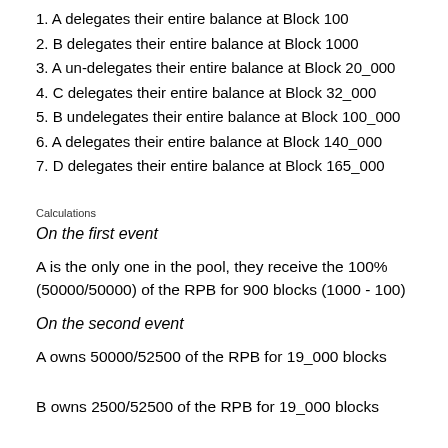1. A delegates their entire balance at Block 100
2. B delegates their entire balance at Block 1000
3. A un-delegates their entire balance at Block 20_000
4. C delegates their entire balance at Block 32_000
5. B undelegates their entire balance at Block 100_000
6. A delegates their entire balance at Block 140_000
7. D delegates their entire balance at Block 165_000
Calculations
On the first event
A is the only one in the pool, they receive the 100% (50000/50000) of the RPB for 900 blocks (1000 - 100)
On the second event
A owns 50000/52500 of the RPB for 19_000 blocks
B owns 2500/52500 of the RPB for 19_000 blocks